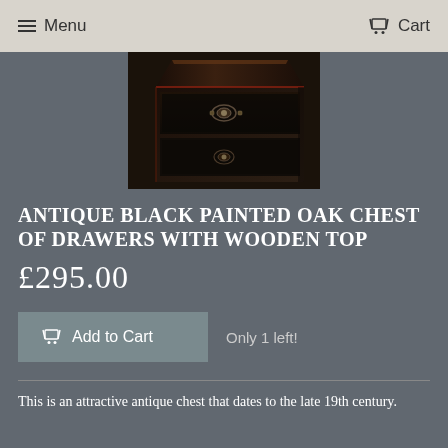Menu  Cart
[Figure (photo): Dark antique black painted oak chest of drawers with ornate metal handles, photographed at an angle showing the top and front drawers.]
ANTIQUE BLACK PAINTED OAK CHEST OF DRAWERS WITH WOODEN TOP
£295.00
Add to Cart  Only 1 left!
This is an attractive antique chest that dates to the late 19th century.